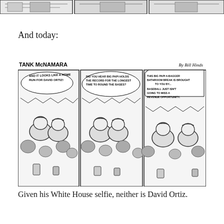[Figure (illustration): Top strip showing partial comic strip panels, black and white, cropped at top of page]
And today:
[Figure (illustration): Tank McNamara comic strip by Bill Hinds. Three panels. Panel 1: Two men in baseball caps at a game, speech bubble: 'AND IT LOOKS LIKE A HOME RUN FOR DAVID ORTIZ!' Panel 2: Same scene, speech bubble: 'DID YOU HEAR BIG PAPI HOLDS THE RECORD FOR THE LONGEST TIME TO ROUND THE BASES?' Panel 3: Speech bubble: 'THIS BIG PAPI 4-BAGGER BATHROOM BREAK IS BROUGHT TO YOU BY... BASEBALL JUST ISN'T GOING TO MISS A REVENUE OPPORTUNITY.' Header reads 'TANK McNAMARA' on left and 'By Bill Hinds' on right.]
Given his White House selfie, neither is David Ortiz.